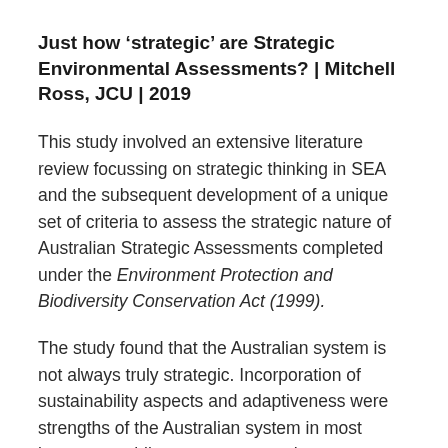Just how 'strategic' are Strategic Environmental Assessments? | Mitchell Ross, JCU | 2019
This study involved an extensive literature review focussing on strategic thinking in SEA and the subsequent development of a unique set of criteria to assess the strategic nature of Australian Strategic Assessments completed under the Environment Protection and Biodiversity Conservation Act (1999).
The study found that the Australian system is not always truly strategic. Incorporation of sustainability aspects and adaptiveness were strengths of the Australian system in most instances, while components such as cumulative impact assessment and assessment of alternatives were often absent or insufficiently addressed. To make SAs more